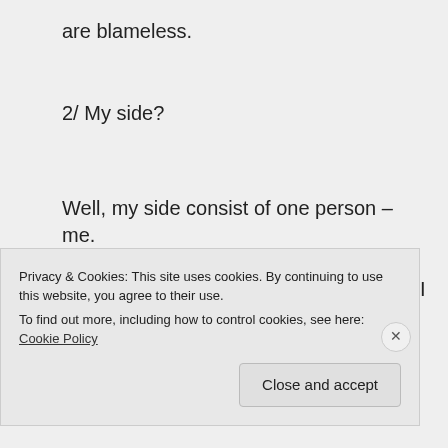are blameless.
2/ My side?
Well, my side consist of one person – me.
I am that most hated of all Malaysians – I am a swinging voter.
I have no allegiance to BN nor to Pakatan.
Privacy & Cookies: This site uses cookies. By continuing to use this website, you agree to their use.
To find out more, including how to control cookies, see here: Cookie Policy
Close and accept